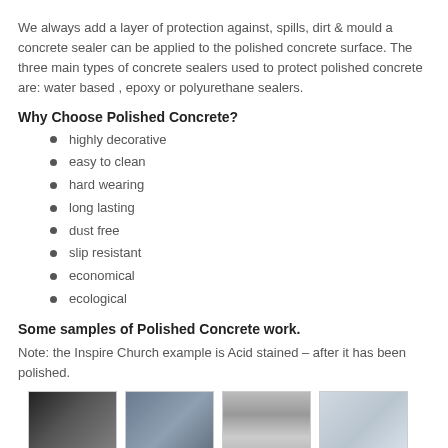We always add a layer of protection against, spills, dirt & mould a concrete sealer can be applied to the polished concrete surface. The three main types of concrete sealers used to protect polished concrete are: water based , epoxy or polyurethane sealers.
Why Choose Polished Concrete?
highly decorative
easy to clean
hard wearing
long lasting
dust free
slip resistant
economical
ecological
Some samples of Polished Concrete work.
Note: the Inspire Church example is Acid stained – after it has been polished.
[Figure (photo): Four thumbnail photos of polished concrete work samples: dark industrial interior, blue-grey polished concrete floor, large warehouse with reflective floor, and a room with red chairs on polished surface.]